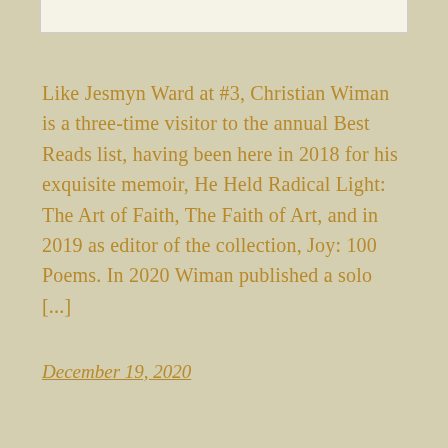Like Jesmyn Ward at #3, Christian Wiman is a three-time visitor to the annual Best Reads list, having been here in 2018 for his exquisite memoir, He Held Radical Light: The Art of Faith, The Faith of Art, and in 2019 as editor of the collection, Joy: 100 Poems. In 2020 Wiman published a solo [...]
December 19, 2020